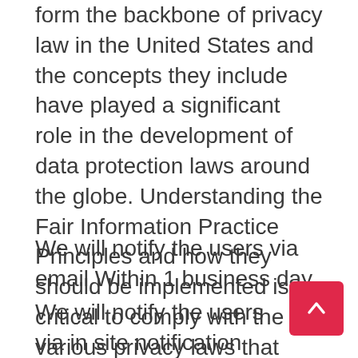form the backbone of privacy law in the United States and the concepts they include have played a significant role in the development of data protection laws around the globe. Understanding the Fair Information Practice Principles and how they should be implemented is critical to comply with the various privacy laws that protect personal information. In order to be in line with Fair Information Practices we will take the following responsive action, should a data breach occur:
We will notify the users via email Within 1 business day
We will notify the users via in site notification Within 1 business day